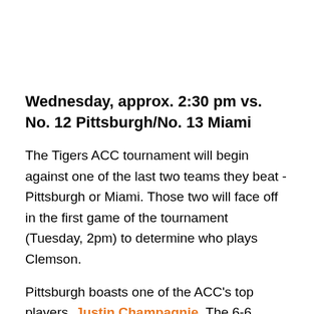Wednesday, approx. 2:30 pm vs. No. 12 Pittsburgh/No. 13 Miami
The Tigers ACC tournament will begin against one of the last two teams they beat - Pittsburgh or Miami. Those two will face off in the first game of the tournament (Tuesday, 2pm) to determine who plays Clemson.
Pittsburgh boasts one of the ACC's top players, Justin Champagnie. The 6-6 sophomore from Brooklyn is averaging 18.7 points and 11.5 rebounds per game. He was held to just 13 points and a mere four